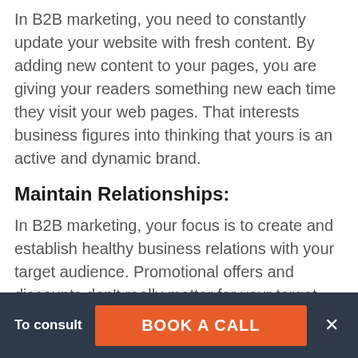In B2B marketing, you need to constantly update your website with fresh content. By adding new content to your pages, you are giving your readers something new each time they visit your web pages. That interests business figures into thinking that yours is an active and dynamic brand.
Maintain Relationships:
In B2B marketing, your focus is to create and establish healthy business relations with your target audience. Promotional offers and discounts don't really matter for your target audience in the B2B framework. What works in
To consult   BOOK A CALL   ×